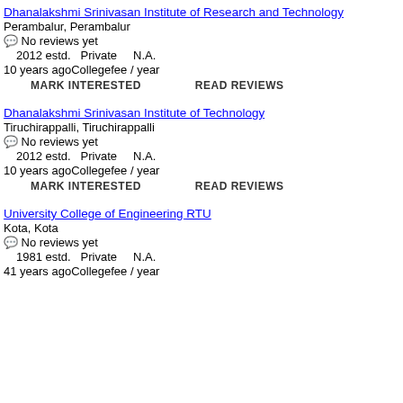Dhanalakshmi Srinivasan Institute of Research and Technology
Perambalur, Perambalur
💬 No reviews yet
2012 estd.  Private    N.A.
10 years agoCollegefee / year
MARK INTERESTED    READ REVIEWS
Dhanalakshmi Srinivasan Institute of Technology
Tiruchirappalli, Tiruchirappalli
💬 No reviews yet
2012 estd.  Private    N.A.
10 years agoCollegefee / year
MARK INTERESTED    READ REVIEWS
University College of Engineering RTU
Kota, Kota
💬 No reviews yet
1981 estd.  Private    N.A.
41 years agoCollegefee / year